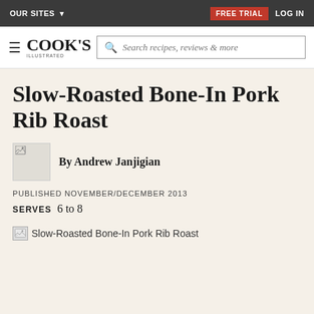OUR SITES  FREE TRIAL  LOG IN
COOK'S ILLUSTRATED  Search recipes, reviews & more
Slow-Roasted Bone-In Pork Rib Roast
By Andrew Janjigian
PUBLISHED NOVEMBER/DECEMBER 2013
SERVES  6 to 8
[Figure (photo): Broken image placeholder for Slow-Roasted Bone-In Pork Rib Roast photo]